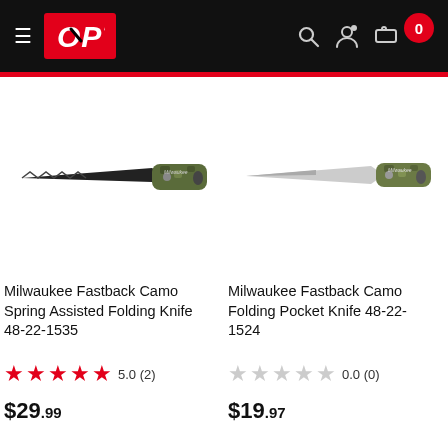OPT — Online Power Tools
[Figure (photo): Milwaukee Fastback Camo Spring Assisted Folding Knife 48-22-1535 — black serrated blade with camo handle, open position]
Milwaukee Fastback Camo Spring Assisted Folding Knife 48-22-1535
★★★★★ 5.0 (2)
$29.99
[Figure (photo): Milwaukee Fastback Camo Folding Pocket Knife 48-22-1524 — silver plain blade with camo handle, open position]
Milwaukee Fastback Camo Folding Pocket Knife 48-22-1524
☆☆☆☆☆ 0.0 (0)
$19.97